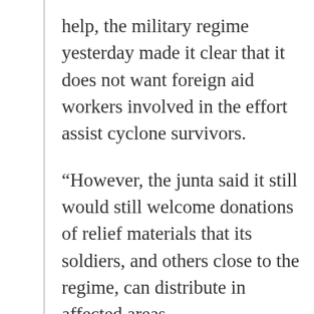help, the military regime yesterday made it clear that it does not want foreign aid workers involved in the effort assist cyclone survivors.
“However, the junta said it still would still welcome donations of relief materials that its soldiers, and others close to the regime, can distribute in affected areas...
“The World Food Programme said that it was suspending three planned relief flights carrying food aid because the Burmese military regime had seized control of 28 tonnes of supplies that